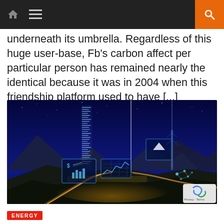Navigation bar with home, menu, and search icons
underneath its umbrella. Regardless of this huge user-base, Fb's carbon affect per particular person has remained nearly the identical because it was in 2004 when this friendship platform used to have [...]
[Figure (photo): Night cityscape panorama with mountains in background and digital HUD overlays showing financial data, charts, and network graphics. Light trails from roads visible, futuristic smart city concept image.]
ENERGY